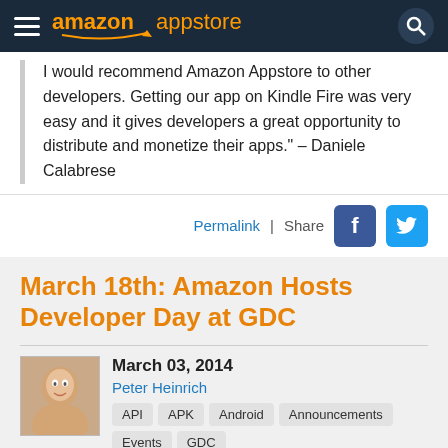amazon appstore
I would recommend Amazon Appstore to other developers. Getting our app on Kindle Fire was very easy and it gives developers a great opportunity to distribute and monetize their apps." – Daniele Calabrese
Permalink | Share
March 18th: Amazon Hosts Developer Day at GDC
March 03, 2014
Peter Heinrich
API
APK
Android
Announcements
Events
GDC